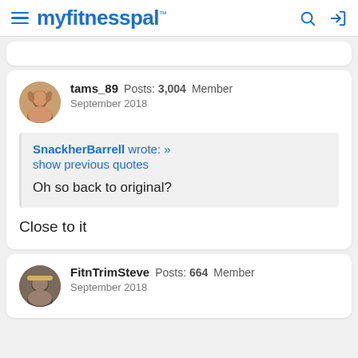myfitnesspal
tams_89  Posts: 3,004  Member
September 2018
SnackherBarrell wrote: »
show previous quotes
Oh so back to original?
Close to it
FitnTrimSteve  Posts: 664  Member
September 2018